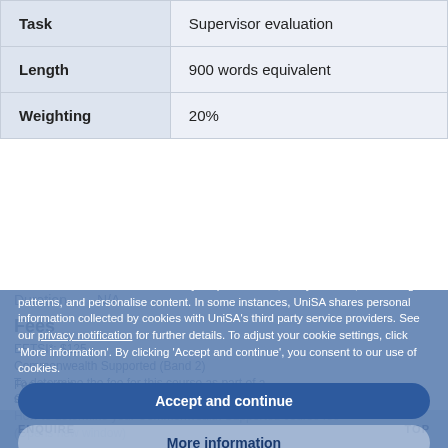| Field | Value |
| --- | --- |
| Task | Supervisor evaluation |
| Length | 900 words equivalent |
| Weighting | 20% |
| Duration | N/A |
Fees
UniSA uses cookies to remember your preferences, analyse traffic, track usage patterns, and personalise content. In some instances, UniSA shares personal information collected by cookies with UniSA's third party service providers. See our privacy notification for further details. To adjust your cookie settings, click 'More information'. By clicking 'Accept and continue', you consent to our use of cookies.
Accept and continue
More information
ENQUIRE
Fee-paying students